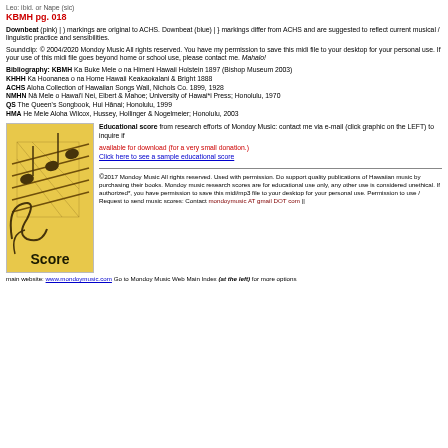Leo:  ibid. or Nape (sic)
KBMH pg. 018
Downbeat (pink) | ) markings are original to ACHS. Downbeat (blue) | } markings differ from ACHS and are suggested to reflect current musical / linguistic practice and sensibilities.
Soundclip: © 2004/2020 Mondoy Music  All rights reserved. You have my permission to save this midi file to your desktop for your personal use.  If your use of this midi file goes beyond  home or school use, please contact me. Mahalo!
Bibliography: KBMH Ka Buke Mele o na Himeni Hawaii Holstein 1897 (Bishop Museum 2003)
KHHH Ka Hoonanea o na Home Hawaii Keakaokalani & Bright 1888
ACHS Aloha Collection of Hawaiian Songs Wall, Nichols Co. 1899, 1928
NMHN Nā Mele o Hawai'i Nei, Elbert & Mahoe; University of Hawai'i Press; Honolulu, 1970
QS The Queen's Songbook, Hui Hānai; Honolulu, 1999
HMA He Mele Aloha Wilcox, Hussey, Hollinger & Nogelmeier; Honolulu, 2003
[Figure (photo): Score image - music note graphic on yellow/gold background with 'Score' text]
Educational score from research efforts of Mondoy Music: contact me via e-mail (click graphic on the LEFT) to inquire if available for download (for a very small donation.) Click here to see a sample educational score
©2017 Mondoy Music  All rights reserved. Used with permission. Do support quality publications of Hawaiian music by purchasing their books. Mondoy music research scores are for educational use only, any other use is considered unethical. If authorized*, you have permission to save this midi/mp3 file to your desktop for your personal use. Permission to use / Request to send music scores: Contact mondoymusic AT gmail DOT com || main website: www.mondoymusic.com  Go to Mondoy Music Web Main Index (at the left) for more options